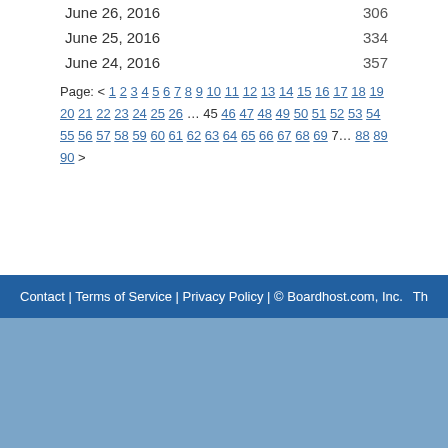June 26, 2016	306
June 25, 2016	334
June 24, 2016	357
Page: < 1 2 3 4 5 6 7 8 9 10 11 12 13 14 15 16 17 18 19 20 21 22 23 24 25 26 … 45 46 47 48 49 50 51 52 53 54 55 56 57 58 59 60 61 62 63 64 65 66 67 68 69 7… 88 89 90 >
Contact | Terms of Service | Privacy Policy | © Boardhost.com, Inc.   Th…